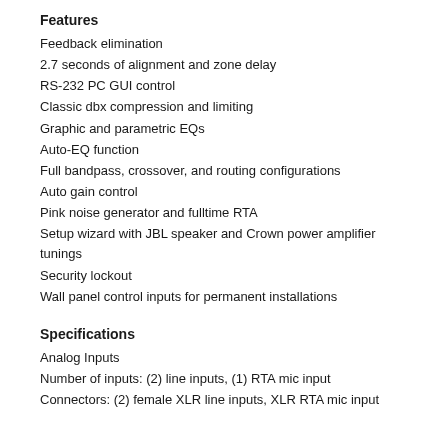Features
Feedback elimination
2.7 seconds of alignment and zone delay
RS-232 PC GUI control
Classic dbx compression and limiting
Graphic and parametric EQs
Auto-EQ function
Full bandpass, crossover, and routing configurations
Auto gain control
Pink noise generator and fulltime RTA
Setup wizard with JBL speaker and Crown power amplifier tunings
Security lockout
Wall panel control inputs for permanent installations
Specifications
Analog Inputs
Number of inputs: (2) line inputs, (1) RTA mic input
Connectors: (2) female XLR line inputs, XLR RTA mic input